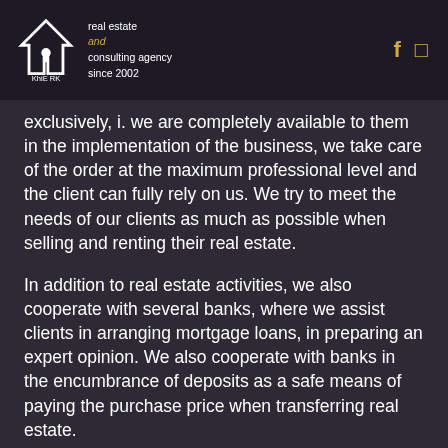KhiE RK real estate and consulting agency since 2002
exclusively, i. we are completely available to them in the implementation of the business, we take care of the order at the maximum professional level and the client can fully rely on us. We try to meet the needs of our clients as much as possible when selling and renting their real estate.
In addition to real estate activities, we also cooperate with several banks, where we assist clients in arranging mortgage loans, in preparing an expert opinion. We also cooperate with banks in the encumbrance of deposits as a safe means of paying the purchase price when transferring real estate.
If someone decides to build, we offer them the equipment of a building permit, or. other documents required for sale, lease or construction. We can recommend a construction company as well as ensure the cleaning of your property.